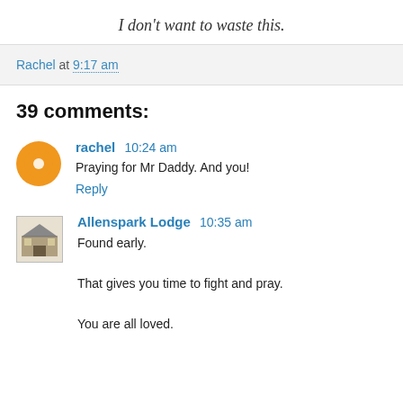I don't want to waste this.
Rachel at 9:17 am
39 comments:
rachel 10:24 am
Praying for Mr Daddy. And you!
Reply
Allenspark Lodge 10:35 am
Found early.
That gives you time to fight and pray.
You are all loved.